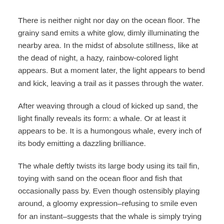There is neither night nor day on the ocean floor. The grainy sand emits a white glow, dimly illuminating the nearby area. In the midst of absolute stillness, like at the dead of night, a hazy, rainbow-colored light appears. But a moment later, the light appears to bend and kick, leaving a trail as it passes through the water.
After weaving through a cloud of kicked up sand, the light finally reveals its form: a whale. Or at least it appears to be. It is a humongous whale, every inch of its body emitting a dazzling brilliance.
The whale deftly twists its large body using its tail fin, toying with sand on the ocean floor and fish that occasionally pass by. Even though ostensibly playing around, a gloomy expression–refusing to smile even for an instant–suggests that the whale is simply trying to kill time, rather than enjoy itself.